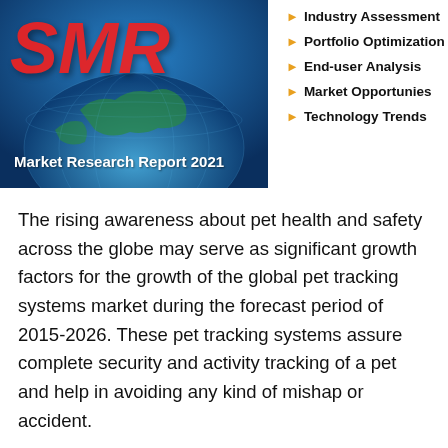[Figure (illustration): Market Research Report 2021 cover image with blue globe background and red stylized 'SMR' text overlay]
Industry Assessment
Portfolio Optimization
End-user Analysis
Market Opportunies
Technology Trends
The rising awareness about pet health and safety across the globe may serve as significant growth factors for the growth of the global pet tracking systems market during the forecast period of 2015-2026. These pet tracking systems assure complete security and activity tracking of a pet and help in avoiding any kind of mishap or accident.
Novel technological advancements in pet tracking systems are bringing extensive growth prospects. Various types of pet tracking systems are available such as radio pet tracking systems, GPS pet tracking